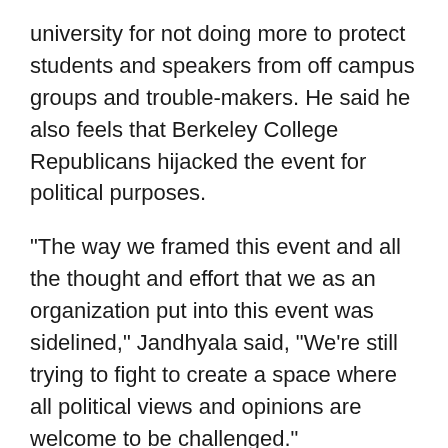university for not doing more to protect students and speakers from off campus groups and trouble-makers. He said he also feels that Berkeley College Republicans hijacked the event for political purposes.
"The way we framed this event and all the thought and effort that we as an organization put into this event was sidelined," Jandhyala said, "We're still trying to fight to create a space where all political views and opinions are welcome to be challenged."
Bridge USA is not part of the lawsuit filed by the Berkeley College Republicans against U.C. Berkeley.
Both student groups and U.C. Berkeley officials say they are still interested in having Ann Coulter speak on campus at another time if she is willing.